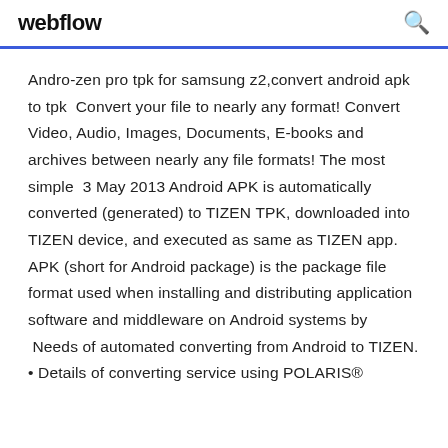webflow
Andro-zen pro tpk for samsung z2,convert android apk to tpk  Convert your file to nearly any format! Convert Video, Audio, Images, Documents, E-books and archives between nearly any file formats! The most simple  3 May 2013 Android APK is automatically converted (generated) to TIZEN TPK, downloaded into TIZEN device, and executed as same as TIZEN app. APK (short for Android package) is the package file format used when installing and distributing application software and middleware on Android systems by  Needs of automated converting from Android to TIZEN. • Details of converting service using POLARIS®